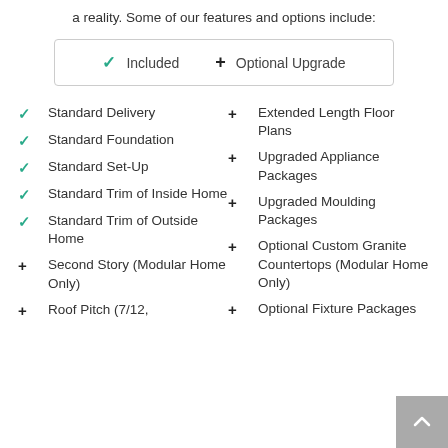a reality. Some of our features and options include:
[Figure (infographic): Legend box showing: checkmark = Included, plus sign = Optional Upgrade]
Standard Delivery
Standard Foundation
Standard Set-Up
Standard Trim of Inside Home
Standard Trim of Outside Home
Second Story (Modular Home Only)
Roof Pitch (7/12,
Extended Length Floor Plans
Upgraded Appliance Packages
Upgraded Moulding Packages
Optional Custom Granite Countertops (Modular Home Only)
Optional Fixture Packages